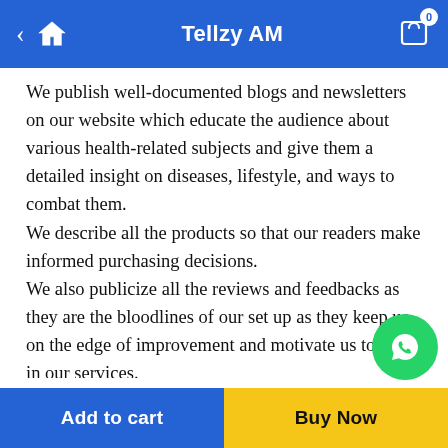Tellzy AM
We publish well-documented blogs and newsletters on our website which educate the audience about various health-related subjects and give them a detailed insight on diseases, lifestyle, and ways to combat them.
We describe all the products so that our readers make informed purchasing decisions.
We also publicize all the reviews and feedbacks as they are the bloodlines of our set up as they keep us on the edge of improvement and motivate us to excel in our services.
Connect with us
As we follow the mission— “let’s look to offer customer service before we go to bed,” we make our honest attempt in stay